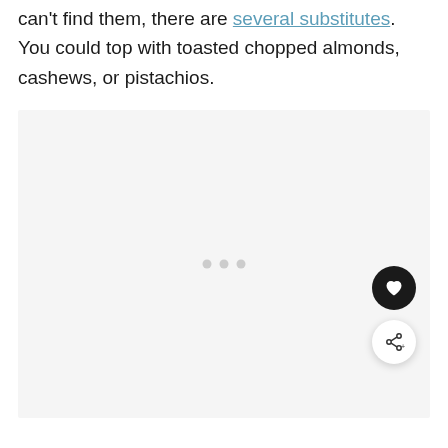can't find them, there are several substitutes. You could top with toasted chopped almonds, cashews, or pistachios.
[Figure (photo): A large image placeholder area with a light gray background and three small gray loading dots centered in the middle, with a black circular heart/favorite button and a white circular share button overlaid in the bottom-right corner.]